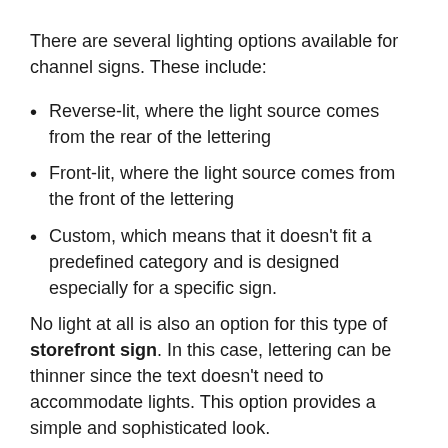There are several lighting options available for channel signs. These include:
Reverse-lit, where the light source comes from the rear of the lettering
Front-lit, where the light source comes from the front of the lettering
Custom, which means that it doesn't fit a predefined category and is designed especially for a specific sign.
No light at all is also an option for this type of storefront sign. In this case, lettering can be thinner since the text doesn't need to accommodate lights. This option provides a simple and sophisticated look.